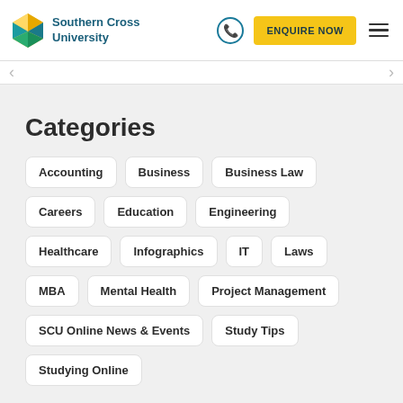Southern Cross University — ENQUIRE NOW
Categories
Accounting
Business
Business Law
Careers
Education
Engineering
Healthcare
Infographics
IT
Laws
MBA
Mental Health
Project Management
SCU Online News & Events
Study Tips
Studying Online